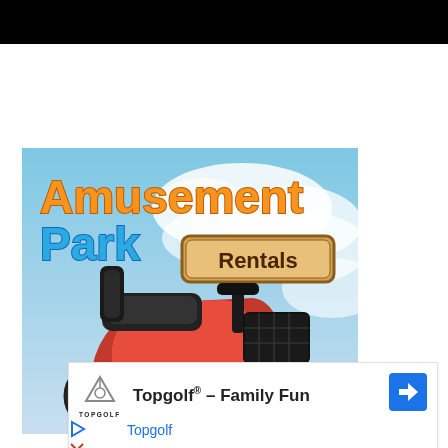[Figure (other): Black banner bar at top of page]
[Figure (illustration): Amusement Park Rentals advertisement showing a red mobility scooter with black seat and basket against a cloudy sky background. Text reads 'Amusement Park Rentals' with a 'Reserve Now' button.]
[Figure (other): Topgolf advertisement banner with Topgolf logo, text 'Topgolf® - Family Fun' and 'Topgolf' in blue, with a blue navigation arrow icon on the right. Below are play and close control buttons.]